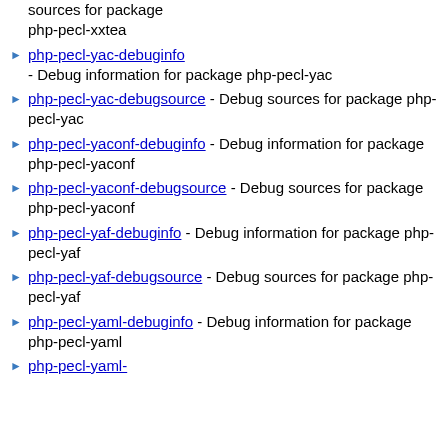sources for package php-pecl-xxtea
php-pecl-yac-debuginfo - Debug information for package php-pecl-yac
php-pecl-yac-debugsource - Debug sources for package php-pecl-yac
php-pecl-yaconf-debuginfo - Debug information for package php-pecl-yaconf
php-pecl-yaconf-debugsource - Debug sources for package php-pecl-yaconf
php-pecl-yaf-debuginfo - Debug information for package php-pecl-yaf
php-pecl-yaf-debugsource - Debug sources for package php-pecl-yaf
php-pecl-yaml-debuginfo - Debug information for package php-pecl-yaml
php-pecl-yaml-